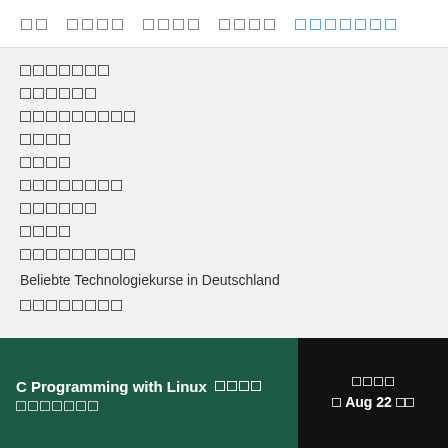[nav items with placeholder characters]
[placeholder text 1]
[placeholder text 2]
[placeholder text 3]
[placeholder text 4]
[placeholder text 5]
[placeholder text 6]
[placeholder text 7]
[placeholder text 8]
[placeholder text 9]
Beliebte Technologiekurse in Deutschland
[placeholder text 10]
C Programming with Linux [placeholder] [placeholder]
[date placeholder] Aug 22 [placeholder]